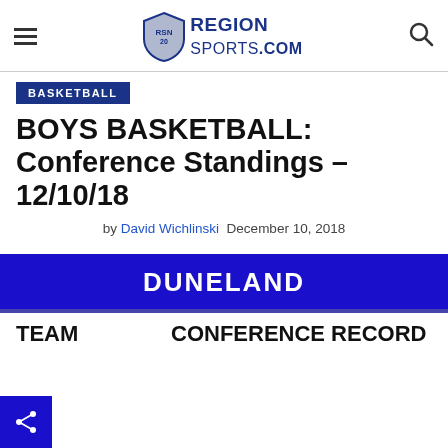REGION SPORTS.COM
BASKETBALL
BOYS BASKETBALL: Conference Standings – 12/10/18
by David Wichlinski  December 10, 2018
DUNELAND
TEAM
CONFERENCE RECORD